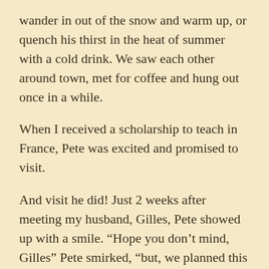wander in out of the snow and warm up, or quench his thirst in the heat of summer with a cold drink. We saw each other around town, met for coffee and hung out once in a while.
When I received a scholarship to teach in France, Pete was excited and promised to visit.
And visit he did! Just 2 weeks after meeting my husband, Gilles, Pete showed up with a smile. “Hope you don’t mind, Gilles” Pete smirked, “but, we planned this trip long before she met you!”